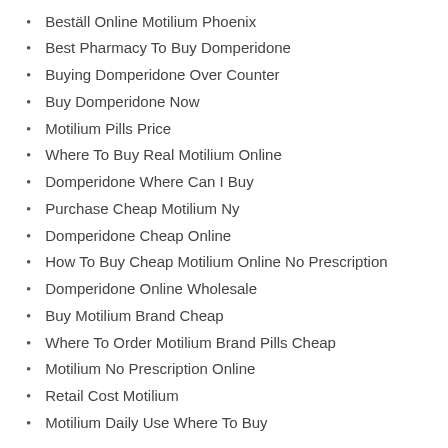Beställ Online Motilium Phoenix
Best Pharmacy To Buy Domperidone
Buying Domperidone Over Counter
Buy Domperidone Now
Motilium Pills Price
Where To Buy Real Motilium Online
Domperidone Where Can I Buy
Purchase Cheap Motilium Ny
Domperidone Cheap Online
How To Buy Cheap Motilium Online No Prescription
Domperidone Online Wholesale
Buy Motilium Brand Cheap
Where To Order Motilium Brand Pills Cheap
Motilium No Prescription Online
Retail Cost Motilium
Motilium Daily Use Where To Buy